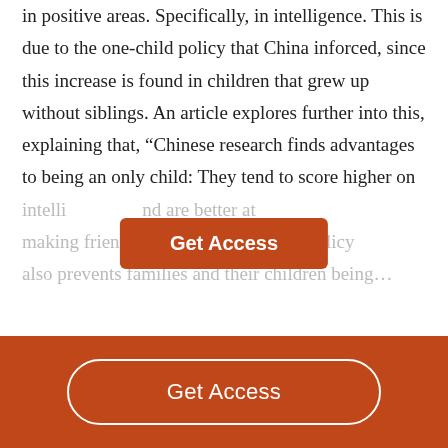in positive areas. Specifically, in intelligence. This is due to the one-child policy that China inforced, since this increase is found in children that grew up without siblings. An article explores further into this, explaining that, “Chinese research finds advantages to being an only child: They tend to score higher on intelli... nd are better at making friends” ...tion, the policy also prevents families and their children being...
[Figure (other): A burnt-orange 'Get Access' button overlaid on partially faded text]
Get Access